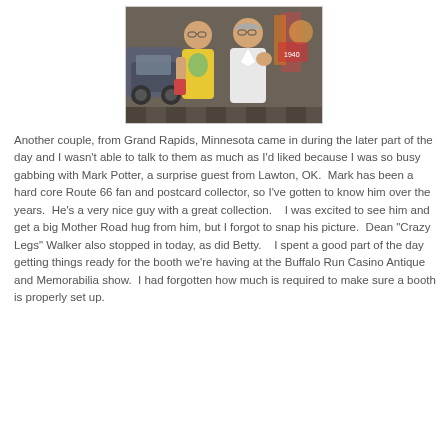[Figure (photo): A couple posing together indoors — a man in a yellow t-shirt on the left and a woman in a white jacket on the right, with what appears to be a vintage car and various items visible in the background.]
Another couple, from Grand Rapids, Minnesota came in during the later part of the day and I wasn't able to talk to them as much as I'd liked because I was so busy gabbing with Mark Potter, a surprise guest from Lawton, OK. Mark has been a hard core Route 66 fan and postcard collector, so I've gotten to know him over the years. He's a very nice guy with a great collection. I was excited to see him and get a big Mother Road hug from him, but I forgot to snap his picture. Dean "Crazy Legs" Walker also stopped in today, as did Betty. I spent a good part of the day getting things ready for the booth we're having at the Buffalo Run Casino Antique and Memorabilia show. I had forgotten how much is required to make sure a booth is properly set up.